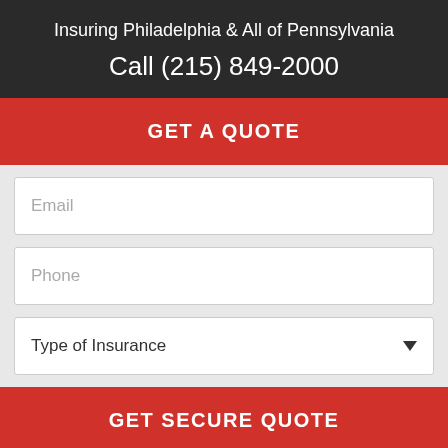Insuring Philadelphia & All of Pennsylvania
Call (215) 849-2000
GET A QUOTE
Email
Phone
Type of Insurance
GET SECURE QUOTE